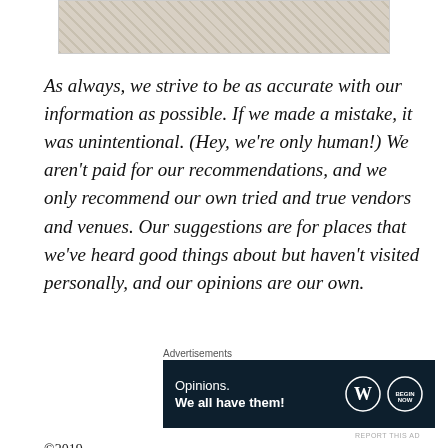[Figure (photo): Partial image at top of page showing a textured sandy or concrete surface]
As always, we strive to be as accurate with our information as possible. If we made a mistake, it was unintentional. (Hey, we're only human!) We aren't paid for our recommendations, and we only recommend our own tried and true vendors and venues. Our suggestions are for places that we've heard good things about but haven't visited personally, and our opinions are our own.
Advertisements
[Figure (other): Advertisement banner with dark navy background. Text reads 'Opinions. We all have them!' with WordPress logo and another circular logo on the right.]
REPORT THIS AD
©2019